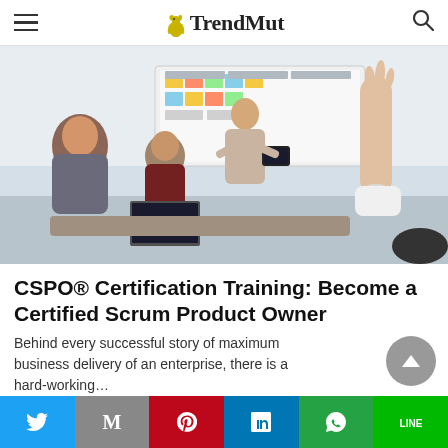TrendMut
[Figure (photo): Business meeting scene: two people seated at a table viewing a presentation, while a man stands holding a tablet near a whiteboard with sticky notes. Another person has their hand raised with a watch visible.]
CSPO® Certification Training: Become a Certified Scrum Product Owner
Behind every successful story of maximum business delivery of an enterprise, there is a hard-working…